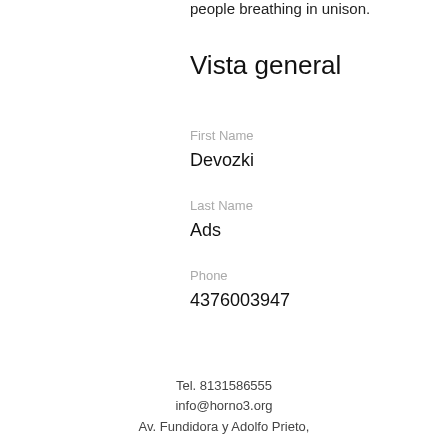people breathing in unison.
Vista general
First Name
Devozki
Last Name
Ads
Phone
4376003947
[Figure (other): Orange button bar with back-to-top arrow button]
Tel. 8131586555
info@horno3.org
Av. Fundidora y Adolfo Prieto,